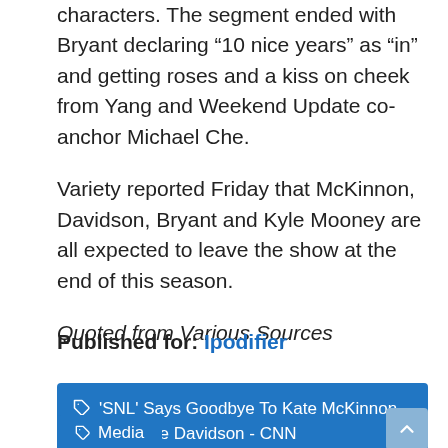characters. The segment ended with Bryant declaring “10 nice years” as “in” and getting roses and a kiss on cheek from Yang and Weekend Update co-anchor Michael Che.
Variety reported Friday that McKinnon, Davidson, Bryant and Kyle Mooney are all expected to leave the show at the end of this season.
Quoted from Various Sources
Published for: Ipodifier
'SNL' Says Goodbye To Kate McKinnon And Pete Davidson - CNN
Media